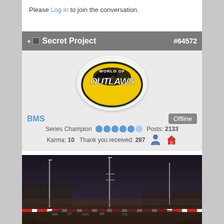Please Log in to join the conversation.
Secret Project #64572
[Figure (illustration): World of Outlaws Sprint Car oval logo — yellow and black with sprint car silhouette, text 'WORLD OF OUTLAWS SPRINT CAR']
BMS   Offline
Series Champion  Posts: 2133
Karma: 10   Thank you received: 287
[Figure (photo): Dark evening aerial/wide-angle photo of a racing oval track facility with light poles and grandstands, red and white barrier visible along track edge]